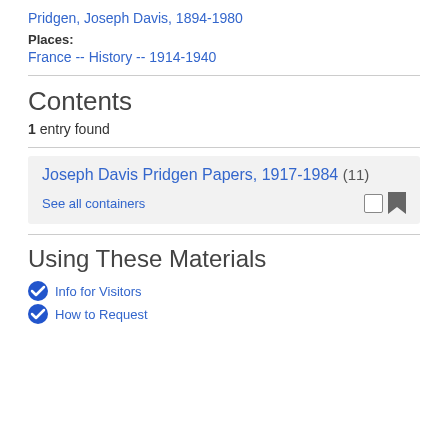Pridgen, Joseph Davis, 1894-1980
Places:
France -- History -- 1914-1940
Contents
1 entry found
Joseph Davis Pridgen Papers, 1917-1984 (11)
See all containers
Using These Materials
Info for Visitors
How to Request